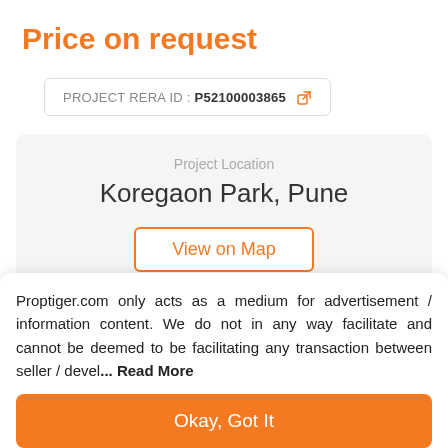Price on request
PROJECT RERA ID : P52100003865
Project Location
Koregaon Park, Pune
View on Map
Proptiger.com only acts as a medium for advertisement / information content. We do not in any way facilitate and cannot be deemed to be facilitating any transaction between seller / devel... Read More
Okay, Got It